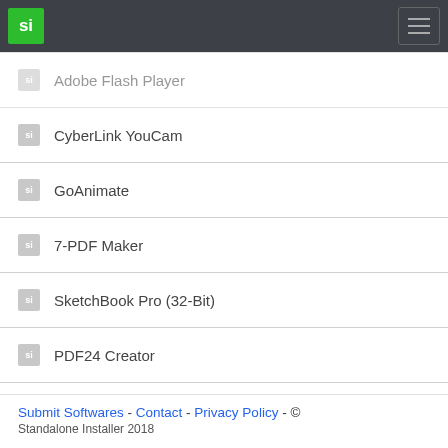si (logo) | hamburger menu
Adobe Flash Player
CyberLink YouCam
GoAnimate
7-PDF Maker
SketchBook Pro (32-Bit)
PDF24 Creator
Foxit Reader
Excel 2016 Password Remover Free
Ghost Mouse Auto Clicker
Free Word to PDF Converter
Submit Softwares - Contact - Privacy Policy - © Standalone Installer 2018